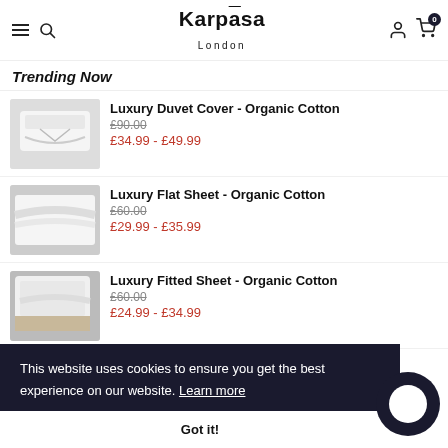Karpāsa London
Trending Now
Luxury Duvet Cover - Organic Cotton £90.00 £34.99 - £49.99
Luxury Flat Sheet - Organic Cotton £60.00 £29.99 - £35.99
Luxury Fitted Sheet - Organic Cotton £60.00 £24.99 - £34.99
This website uses cookies to ensure you get the best experience on our website. Learn more
Got it!